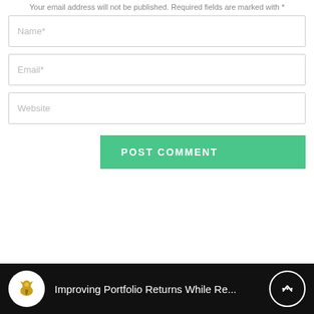Your email address will not be published. Required fields are marked with *
Name*
Email*
Website
POST COMMENT
Improving Portfolio Returns While Re...